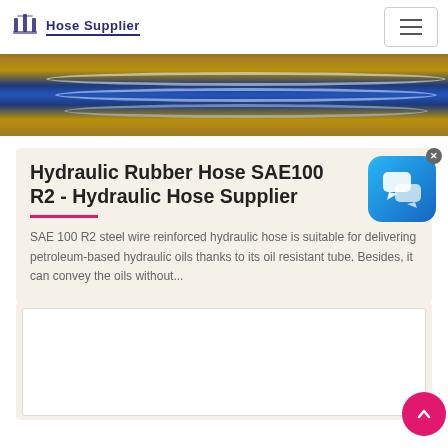Hose Supplier
[Figure (photo): Close-up photo of a hydraulic hose end fitting showing blue concentric rings on a brown/rust background]
Hydraulic Rubber Hose SAE100 R2 - Hydraulic Hose Supplier
SAE 100 R2 steel wire reinforced hydraulic hose is suitable for delivering petroleum-based hydraulic oils thanks to its oil resistant tube. Besides, it can convey the oils without...
[Figure (screenshot): Chat support widget icon - blue rounded square with speech bubble icons]